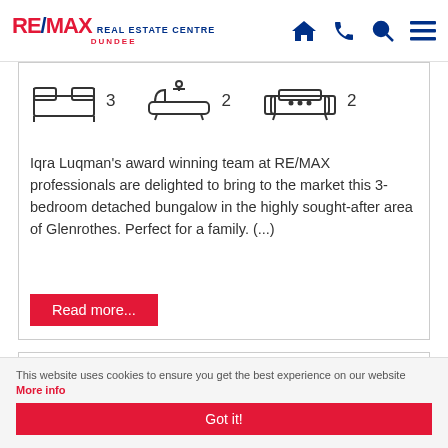[Figure (logo): RE/MAX Real Estate Centre Dundee logo with navigation icons (home, phone, search, menu)]
[Figure (infographic): Property feature icons: 3 bedrooms, 2 bathrooms, 2 reception rooms]
Iqra Luqman's award winning team at RE/MAX professionals are delighted to bring to the market this 3-bedroom detached bungalow in the highly sought-after area of Glenrothes. Perfect for a family. (...)
Read more...
[Figure (photo): Property photo showing rooftop of a house against a blue sky with SOLD STC badge overlay]
This website uses cookies to ensure you get the best experience on our website More info
Got it!